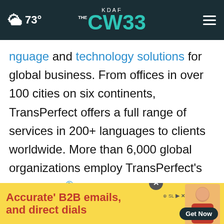KDAF CW 33 — 73° weather header
nguage and technology solutions for global business. From offices in over 100 cities on six continents, TransPerfect offers a full range of services in 200+ languages to clients worldwide. More than 6,000 global organizations employ TransPerfect's GlobalLink® technology to simplify management of multilingual content. With an unparalleled commitment to quality and client service, TransPerfect is fully ISO 9001 and ISO 17000 certified. TransPerfect's global head...
[Figure (screenshot): Advertisement banner: 'Accurate' B2B emails and direct dials' with Get Now button, person image, and close (X) button]